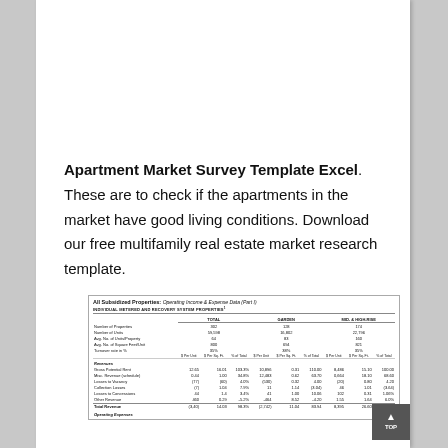Apartment Market Survey Template Excel. These are to check if the apartments in the market have good living conditions. Download our free multifamily real estate market research template.
[Figure (table-as-image): All Subsidized Properties: Operating Income & Expense Data (Part I) — table showing Individual Metered and Recovery System Properties with columns for Total, Garden, and Mid-/High-Rise, with rows for Number of Properties, Number of Units, Avg. No. of Units/Property, Avg. No. of Square Feet/Unit, Turnover rate in %, and revenue/expense rows.]